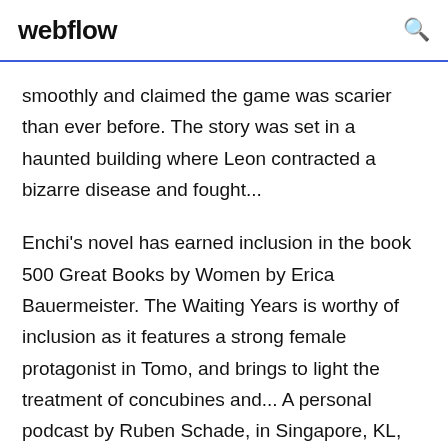webflow
smoothly and claimed the game was scarier than ever before. The story was set in a haunted building where Leon contracted a bizarre disease and fought...
Enchi's novel has earned inclusion in the book 500 Great Books by Women by Erica Bauermeister. The Waiting Years is worthy of inclusion as it features a strong female protagonist in Tomo, and brings to light the treatment of concubines and... A personal podcast by Ruben Schade, in Singapore, KL, and Australia since 2005. Subscribe with iTunes, Pocket Casts, Overcast or use this feed.